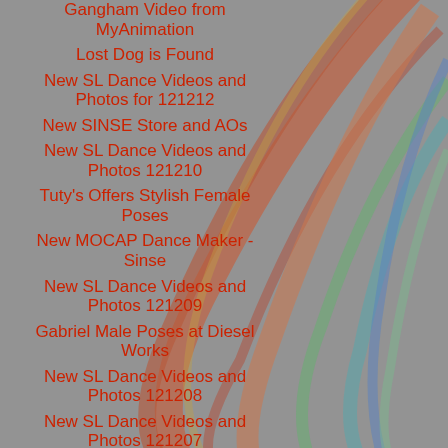Gangham Video from MyAnimation
Lost Dog is Found
New SL Dance Videos and Photos for 121212
New SINSE Store and AOs
New SL Dance Videos and Photos 121210
Tuty's Offers Stylish Female Poses
New MOCAP Dance Maker - Sinse
New SL Dance Videos and Photos 121209
Gabriel Male Poses at Diesel Works
New SL Dance Videos and Photos 121208
New SL Dance Videos and Photos 121207
Henmations Raffle